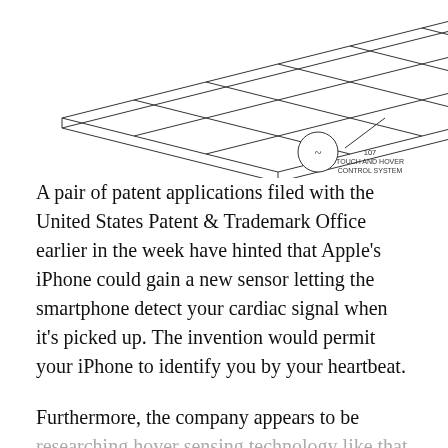[Figure (schematic): Patent schematic diagram showing a grid/mesh surface (touch panel array) in isometric perspective with a callout circle labeled '107 TOUCH AND HOVER CONTROL SYSTEM' connected by a line to the lower right corner of the grid.]
A pair of patent applications filed with the United States Patent & Trademark Office earlier in the week have hinted that Apple's iPhone could gain a new sensor letting the smartphone detect your cardiac signal when it's picked up. The invention would permit your iPhone to identify you by your heartbeat.
Furthermore, the company appears to be researching hover sensing technology like that found on Samsung's Galaxy S4, which is